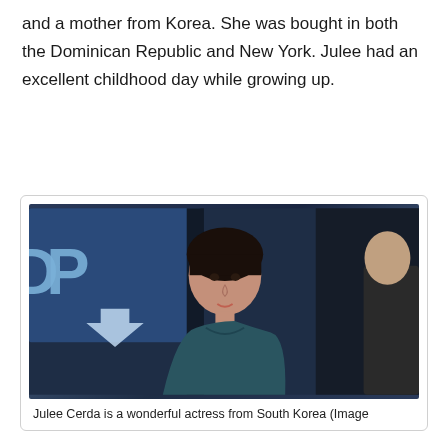and a mother from Korea. She was bought in both the Dominican Republic and New York. Julee had an excellent childhood day while growing up.
[Figure (photo): A woman with short dark hair wearing a teal/dark blue sleeveless top, standing in what appears to be a TV studio or news set with blue background graphics showing 'DP' letters and a downward arrow. Another person is partially visible on the right edge.]
Julee Cerda is a wonderful actress from South Korea (Image